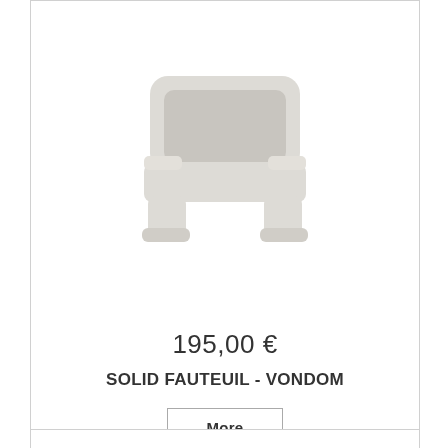[Figure (photo): Product photo of a light grey/white Solid Fauteuil armchair by Vondom, shown from a slight front-top angle. The chair has a modern minimal design with a boxy backrest and wide armrests, molded from a single piece of plastic in off-white/light grey color.]
195,00 €
SOLID FAUTEUIL - VONDOM
More